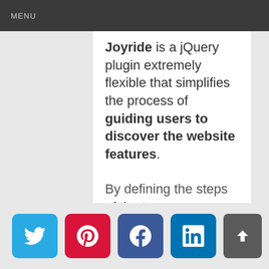MENU
Joyride is a jQuery plugin extremely flexible that simplifies the process of guiding users to discover the website features.
By defining the steps of the tour as an ordered list, the plugin displays desired information near any HTML element inside tooltips.
It to be cross-browser